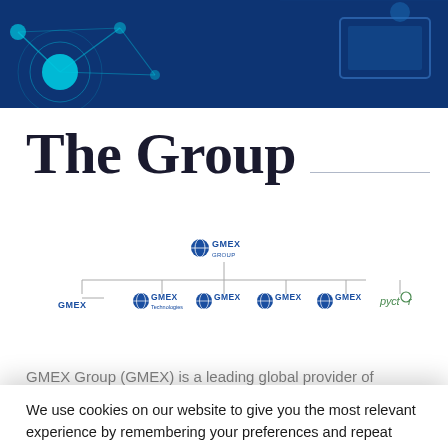[Figure (illustration): Dark blue header banner with cyan/teal network node graphics on the left and a monitor/device graphic on the right]
The Group
[Figure (organizational-chart): GMEX Group organizational chart showing GMEX GROUP at the top, with branches to: GMEX (text only), GMEX Technologies, GMEX (another entity), GMEX (another entity), GMEX (another entity), and Pyctor]
GMEX Group (GMEX) is a leading global provider of
We use cookies on our website to give you the most relevant experience by remembering your preferences and repeat visits. By clicking “Accept”, you consent to the use of ALL the cookies.
Cookie settings
ACCEPT